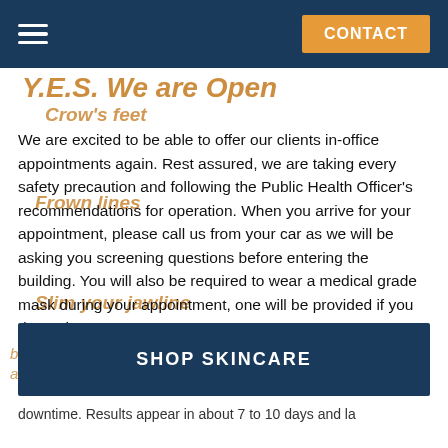CONTACT
Y.E.S. We are Open
Crow's feet
Frown lines
Slim your jawline
We are excited to be able to offer our clients in-office appointments again. Rest assured, we are taking every safety precaution and following the Public Health Officer's recommendations for operation. When you arrive for your appointment, please call us from your car as we will be asking you screening questions before entering the building. You will also be required to wear a medical grade mask during your appointment, one will be provided if you do not have one.
We look forward to helping you find Your Esthetic Solution, call (604) 888-9378 to schedule your appointment today.
SHOP SKINCARE
downtime. Results appear in about 7 to 10 days and la